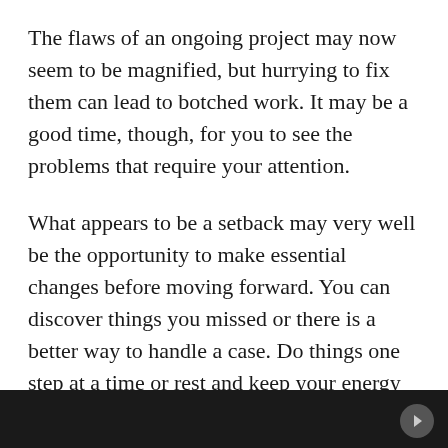The flaws of an ongoing project may now seem to be magnified, but hurrying to fix them can lead to botched work. It may be a good time, though, for you to see the problems that require your attention.
What appears to be a setback may very well be the opportunity to make essential changes before moving forward. You can discover things you missed or there is a better way to handle a case. Do things one step at a time or rest and keep your energy rather than pushing things or yourself today.